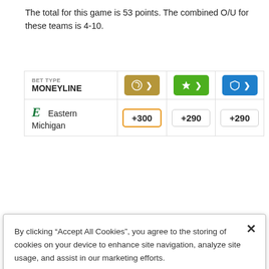The total for this game is 53 points. The combined O/U for these teams is 4-10.
| BET TYPE / MONEYLINE | Sportsbook 1 | Sportsbook 2 | Sportsbook 3 |
| --- | --- | --- | --- |
| Eastern Michigan | +300 | +290 | +290 |
By clicking “Accept All Cookies”, you agree to the storing of cookies on your device to enhance site navigation, analyze site usage, and assist in our marketing efforts.
Cookies Settings
Reject All
Accept All Cookies